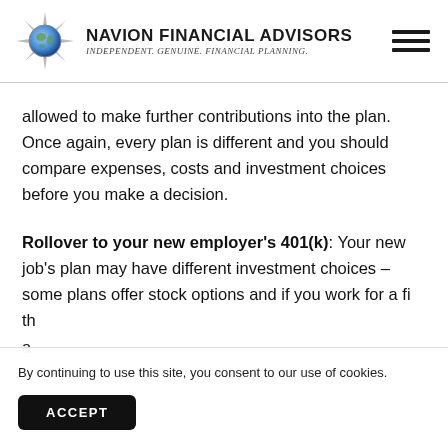[Figure (logo): Navion Financial Advisors logo with compass/globe star icon, company name and tagline 'Independent. Genuine. Financial Planning.']
allowed to make further contributions into the plan. Once again, every plan is different and you should compare expenses, costs and investment choices before you make a decision.
Rollover to your new employer's 401(k): Your new job's plan may have different investment choices – some plans offer stock options and if you work for a fi... th... a...
By continuing to use this site, you consent to our use of cookies.